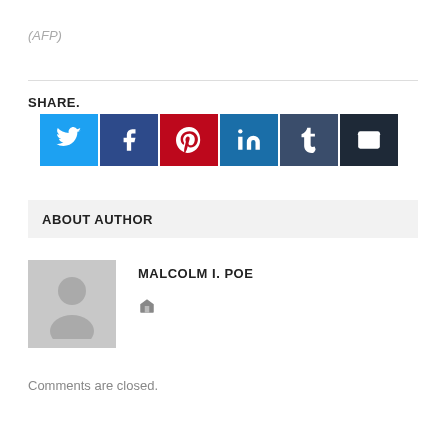(AFP)
SHARE.
[Figure (infographic): Social share buttons for Twitter, Facebook, Pinterest, LinkedIn, Tumblr, and Email]
ABOUT AUTHOR
MALCOLM I. POE
Comments are closed.